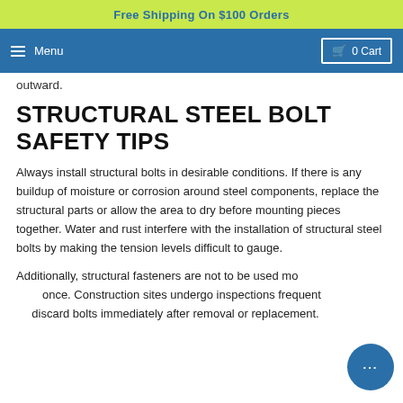Free Shipping On $100 Orders
≡ Menu   🛒 0 Cart
outward.
STRUCTURAL STEEL BOLT SAFETY TIPS
Always install structural bolts in desirable conditions. If there is any buildup of moisture or corrosion around steel components, replace the structural parts or allow the area to dry before mounting pieces together. Water and rust interfere with the installation of structural steel bolts by making the tension levels difficult to gauge.
Additionally, structural fasteners are not to be used more than once. Construction sites undergo inspections frequently, so discard bolts immediately after removal or replacement.